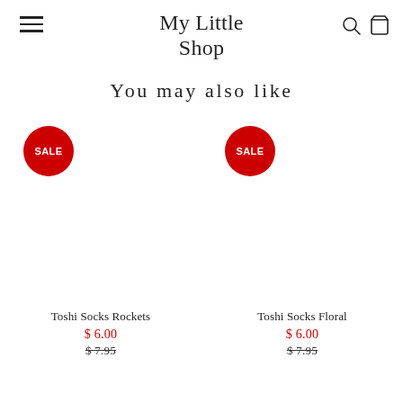My Little Shop
You may also like
[Figure (other): Product image placeholder for Toshi Socks Rockets with red SALE badge]
Toshi Socks Rockets
$ 6.00
$ 7.95
[Figure (other): Product image placeholder for Toshi Socks Floral with red SALE badge]
Toshi Socks Floral
$ 6.00
$ 7.95